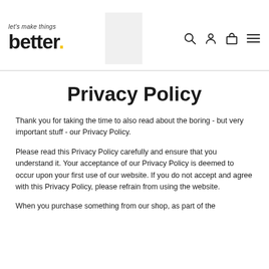let's make things better.
Privacy Policy
Thank you for taking the time to also read about the boring - but very important stuff - our Privacy Policy.
Please read this Privacy Policy carefully and ensure that you understand it. Your acceptance of our Privacy Policy is deemed to occur upon your first use of our website. If you do not accept and agree with this Privacy Policy, please refrain from using the website.
When you purchase something from our shop, as part of the